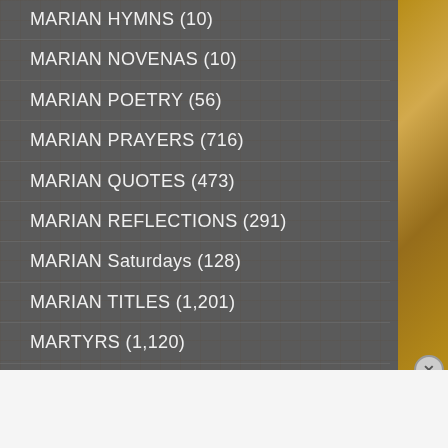MARIAN HYMNS (10)
MARIAN NOVENAS (10)
MARIAN POETRY (56)
MARIAN PRAYERS (716)
MARIAN QUOTES (473)
MARIAN REFLECTIONS (291)
MARIAN Saturdays (128)
MARIAN TITLES (1,201)
MARTYRS (1,120)
MARY'S MONTH (183)
MARY, MATER ECCLESIAE (23)
Advertisements
[Figure (infographic): Macy's advertisement banner: 'KISS BORING LIPS GOODBYE' with SHOP NOW button and Macy's star logo on red background]